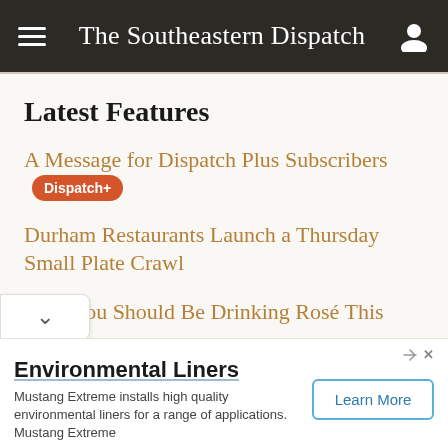The Southeastern Dispatch
Latest Features
A Message for Dispatch Plus Subscribers Dispatch+
Durham Restaurants Launch a Thursday Small Plate Crawl
Why You Should Be Drinking Rosé This Winter
Environmental Liners
Mustang Extreme installs high quality environmental liners for a range of applications. Mustang Extreme
Learn More